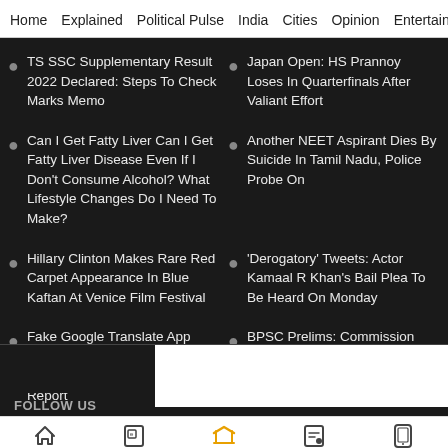Home  Explained  Political Pulse  India  Cities  Opinion  Entertainment
TS SSC Supplementary Result 2022 Declared: Steps To Check Marks Memo
Japan Open: HS Prannoy Loses In Quarterfinals After Valiant Effort
Can I Get Fatty Liver Can I Get Fatty Liver Disease Even If I Don't Consume Alcohol? What Lifestyle Changes Do I Need To Make?
Another NEET Aspirant Dies By Suicide In Tamil Nadu, Police Probe On
Hillary Clinton Makes Rare Red Carpet Appearance In Blue Kaftan At Venice Film Festival
'Derogatory' Tweets: Actor Kamaal R Khan's Bail Plea To Be Heard On Monday
Fake Google Translate App From Third-Party Websites Infected With Crypto Malware: Report
BPSC Prelims: Commission Withdraws Decision To Hold Preliminary Test In Two Sittings
FOLLOW US
Home  ePaper  Premium  Newsletters  Read in App